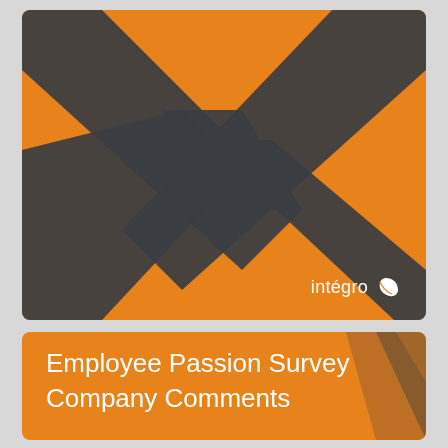[Figure (illustration): Orange rounded rectangle card with large dark gray X/checkmark graphic design element across the full card, and the Integro logo (text plus leaf icon) in the bottom right corner.]
Employee Passion Survey
Company Comments